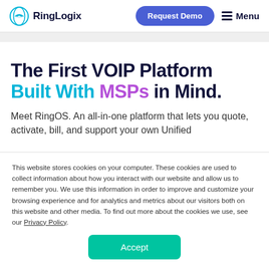RingLogix | Request Demo | Menu
The First VOIP Platform Built With MSPs in Mind.
Meet RingOS. An all-in-one platform that lets you quote, activate, bill, and support your own Unified
This website stores cookies on your computer. These cookies are used to collect information about how you interact with our website and allow us to remember you. We use this information in order to improve and customize your browsing experience and for analytics and metrics about our visitors both on this website and other media. To find out more about the cookies we use, see our Privacy Policy.
Accept